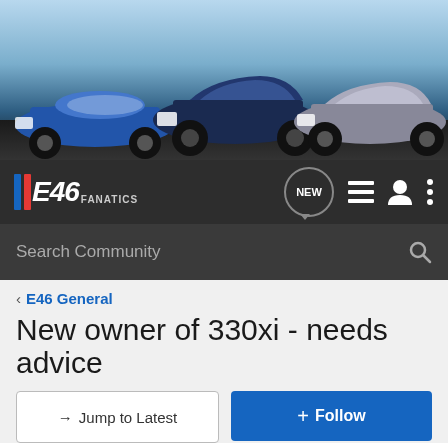[Figure (photo): Hero banner showing three BMW E46 M3 cars (blue convertible, dark blue coupe, silver coupe) on a road against a sky background]
[Figure (logo): E46 Fanatics logo with blue/red stripes and white text on dark navbar, plus NEW chat bubble, list icon, user icon, and more-options icon]
Search Community
< E46 General
New owner of 330xi - needs advice
→ Jump to Latest
+ Follow
Hey everyone! Voting is now live for August's E46 of the Month Challenge!